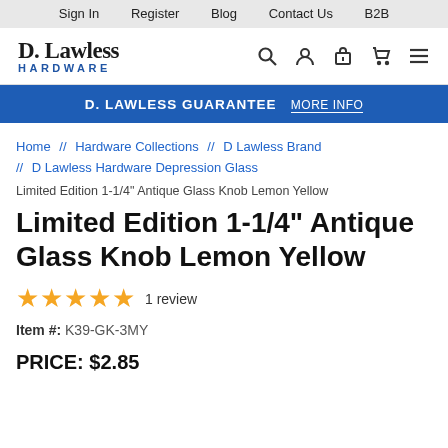Sign In  Register  Blog  Contact Us  B2B
[Figure (logo): D. Lawless Hardware logo with navigation icons (search, account, gift, cart, menu)]
D. LAWLESS GUARANTEE  MORE INFO
Home // Hardware Collections // D Lawless Brand // D Lawless Hardware Depression Glass
Limited Edition 1-1/4" Antique Glass Knob Lemon Yellow
Limited Edition 1-1/4" Antique Glass Knob Lemon Yellow
★★★★★  1 review
Item #: K39-GK-3MY
PRICE: $2.85